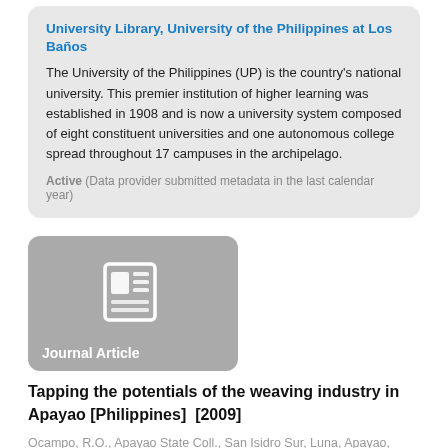University Library, University of the Philippines at Los Baños
The University of the Philippines (UP) is the country's national university. This premier institution of higher learning was established in 1908 and is now a university system composed of eight constituent universities and one autonomous college spread throughout 17 campuses in the archipelago.
Active (Data provider submitted metadata in the last calendar year)
[Figure (illustration): Journal Article thumbnail with newspaper icon on grey rounded rectangle background, labeled 'Journal Article']
Tapping the potentials of the weaving industry in Apayao [Philippines]  [2009]
Ocampo, R.O., Apayao State Coll., San Isidro Sur, Luna, Apayao, Mountain Province (Philippines);
Access the full text
NOT AVAILABLE